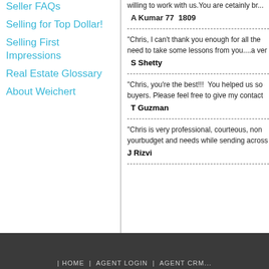Seller FAQs
Selling for Top Dollar!
Selling First Impressions
Real Estate Glossary
About Weichert
willing to work with us. You are cetainly br...
A Kumar 77  1809
"Chris, I can't thank you enough for all the need to take some lessons from you....a ver
S Shetty
"Chris, you're the best!!!  You helped us so buyers. Please feel free to give my contact
T Guzman
"Chris is very professional, courteous, non yourbudget and needs while sending across
J Rizvi
HOME  |  AGENT LOGIN  |  AGENT CRM...